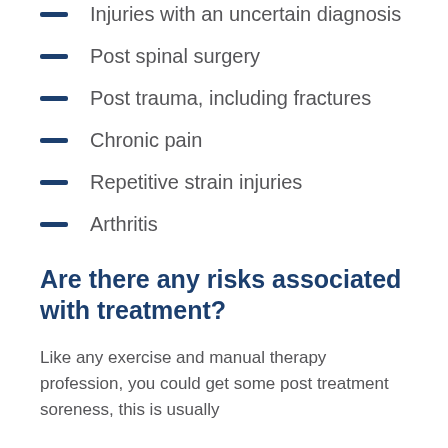Injuries with an uncertain diagnosis
Post spinal surgery
Post trauma, including fractures
Chronic pain
Repetitive strain injuries
Arthritis
Are there any risks associated with treatment?
Like any exercise and manual therapy profession, you could get some post treatment soreness, this is usually